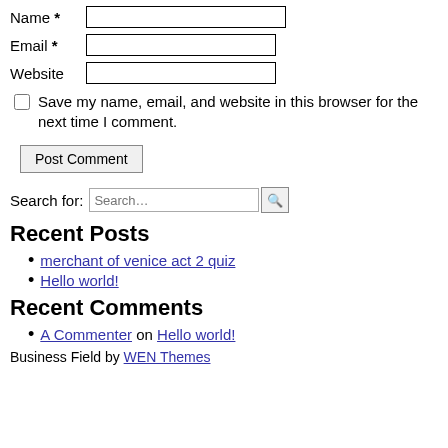Name *
Email *
Website
Save my name, email, and website in this browser for the next time I comment.
Post Comment
Search for:
Recent Posts
merchant of venice act 2 quiz
Hello world!
Recent Comments
A Commenter on Hello world!
Business Field by WEN Themes